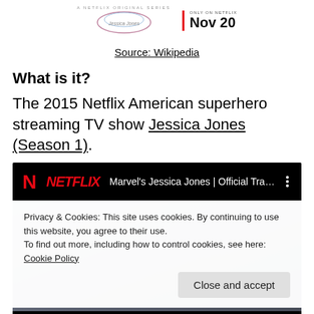[Figure (screenshot): Top portion of a Netflix promotional image showing a stylized show logo for a Netflix Original Series and 'Nov 20' release date text, partially cropped at the top of the page]
Source: Wikipedia
What is it?
The 2015 Netflix American superhero streaming TV show Jessica Jones (Season 1).
[Figure (screenshot): Screenshot of a Netflix YouTube video embed showing 'Marvel's Jessica Jones | Official Trai...' with the Netflix logo and a cookie consent banner overlay reading: 'Privacy & Cookies: This site uses cookies. By continuing to use this website, you agree to their use. To find out more, including how to control cookies, see here: Cookie Policy' with a 'Close and accept' button. At the bottom a partial image shows the letters 'JESSICA JONES' text.]